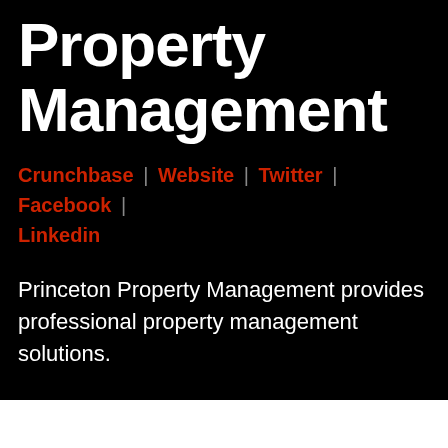Property Management
Crunchbase | Website | Twitter | Facebook | Linkedin
Princeton Property Management provides professional property management solutions.
25 SHARES